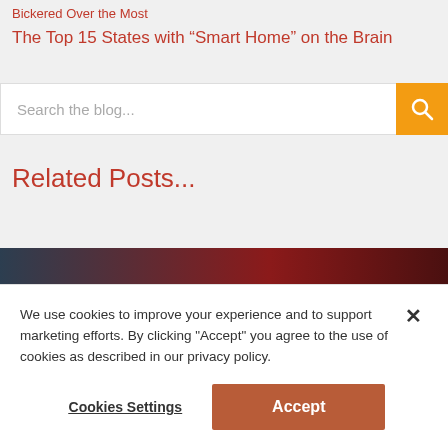Bickered Over the Most
The Top 15 States with “Smart Home” on the Brain
Search the blog...
Related Posts...
[Figure (photo): Thumbnail strip image with dark red/navy gradient background]
We use cookies to improve your experience and to support marketing efforts. By clicking "Accept" you agree to the use of cookies as described in our privacy policy.
Cookies Settings
Accept